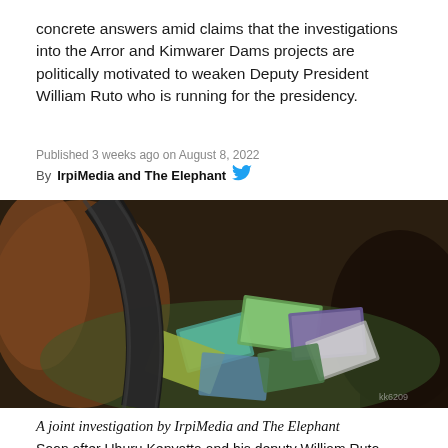concrete answers amid claims that the investigations into the Arror and Kimwarer Dams projects are politically motivated to weaken Deputy President William Ruto who is running for the presidency.
Published 3 weeks ago on August 8, 2022
By IrpiMedia and The Elephant
[Figure (illustration): Artistic illustration showing currency notes scattered on the ground with dark curved shapes, in a painterly/digital art style]
A joint investigation by IrpiMedia and The Elephant
Soon after Uhuru Kenyatta and his deputy William Ruto